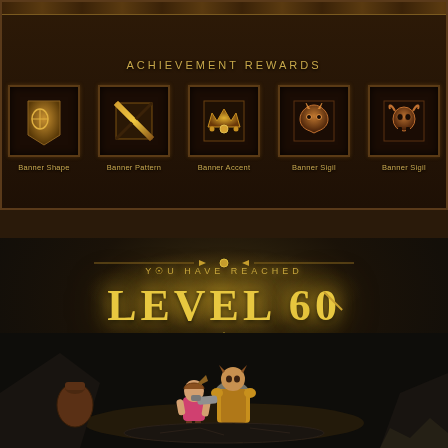[Figure (screenshot): Diablo III Achievement Rewards panel showing five golden reward items: Banner Shape, Banner Pattern, Banner Accent, Banner Sigil, Banner Sigil, displayed in ornate icon boxes with dark fantasy UI styling.]
[Figure (screenshot): Diablo III Level 60 reached screen. Text reads 'YOU HAVE REACHED LEVEL 60' in golden letters with glowing effect. Two game characters visible in the lower portion of the screen against a dark dungeon background.]